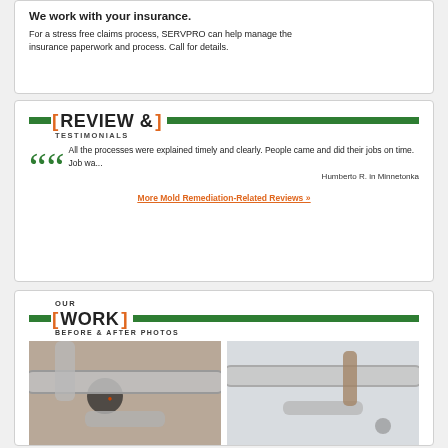We work with your insurance.
For a stress free claims process, SERVPRO can help manage the insurance paperwork and process. Call for details.
REVIEW & TESTIMONIALS
All the processes were explained timely and clearly. People came and did their jobs on time. Job wa...
Humberto R. in Minnetonka
More Mold Remediation-Related Reviews »
OUR WORK BEFORE & AFTER PHOTOS
[Figure (photo): Before photo showing HVAC ducts/pipes with damage and hole in wall]
[Figure (photo): After photo showing cleaned/repaired HVAC ducts and pipes]